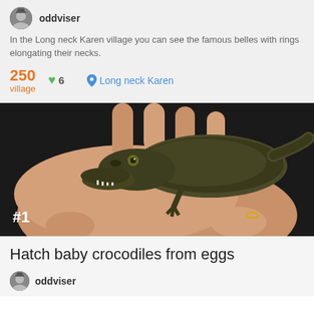oddviser
In the Long neck Karen village you can see the famous belles with rings elongating their necks.
250 village  ♥ 6  Long neck Karen
[Figure (photo): A baby crocodile being held in a human hand, with #1 label in the bottom left corner]
Hatch baby crocodiles from eggs
oddviser